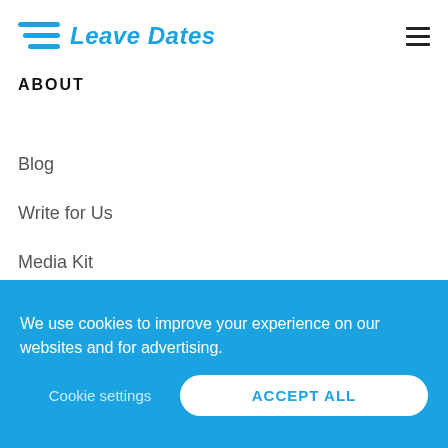Leave Dates
ABOUT
Blog
Write for Us
Media Kit
Affiliates
Book a Demo
We use cookies to improve your experience on our websites and for advertising.
Cookie settings
ACCEPT ALL